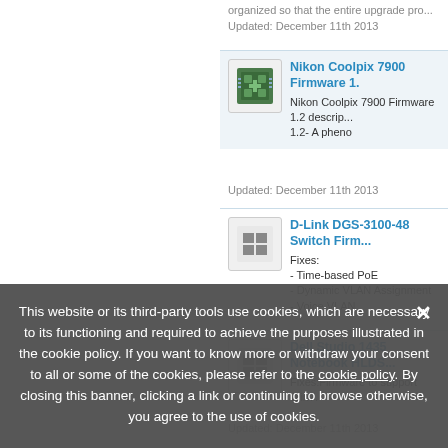organized so that the entire upgrade pro...
Updated: December 11th 2013
Nikon Coolpix 7900 Firmware 1.2 - Nikon Coolpix 7900 Firmware 1.2 description... 1.2- A pheno
Updated: December 11th 2013
D-Link DGS-3100-48 Switch Firm... Fixes: - Time-based PoE - Dynamic VLAN Assignment - Voice VLAN
Dell Studio 1435 Notebook HLDS... Fixes:Firmware to support Win7.
Updated: December 11th 2013
This website or its third-party tools use cookies, which are necessary to its functioning and required to achieve the purposes illustrated in the cookie policy. If you want to know more or withdraw your consent to all or some of the cookies, please refer to the cookie policy. By closing this banner, clicking a link or continuing to browse otherwise, you agree to the use of cookies.